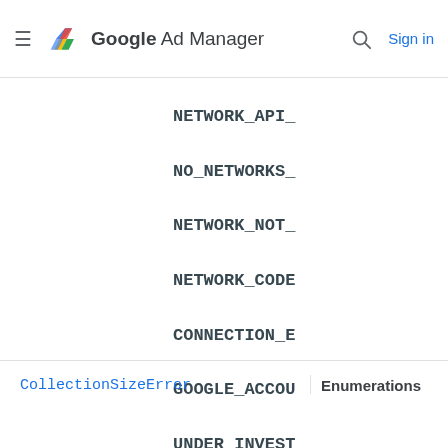Google Ad Manager
NETWORK_API_
NO_NETWORKS_
NETWORK_NOT_
NETWORK_CODE
CONNECTION_E
GOOGLE_ACCOU
UNDER_INVEST
UNKNOWN
CollectionSizeError
Enumerations